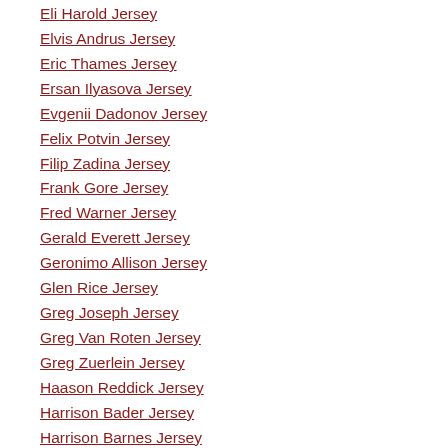Eli Harold Jersey
Elvis Andrus Jersey
Eric Thames Jersey
Ersan Ilyasova Jersey
Evgenii Dadonov Jersey
Felix Potvin Jersey
Filip Zadina Jersey
Frank Gore Jersey
Fred Warner Jersey
Gerald Everett Jersey
Geronimo Allison Jersey
Glen Rice Jersey
Greg Joseph Jersey
Greg Van Roten Jersey
Greg Zuerlein Jersey
Haason Reddick Jersey
Harrison Bader Jersey
Harrison Barnes Jersey
Hines Ward Jersey
Iman Marshall Jersey
Ivan Rodriguez Jersey